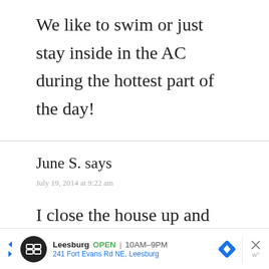We like to swim or just stay inside in the AC during the hottest part of the day!
June S. says
July 19, 2014 at 9:22 am
I close the house up and run the
[Figure (other): Advertisement banner for Leesburg store showing store icon, open status, hours 10AM-9PM, address 241 Fort Evans Rd NE, Leesburg, navigation diamond icon, close button with X, and weather widget]